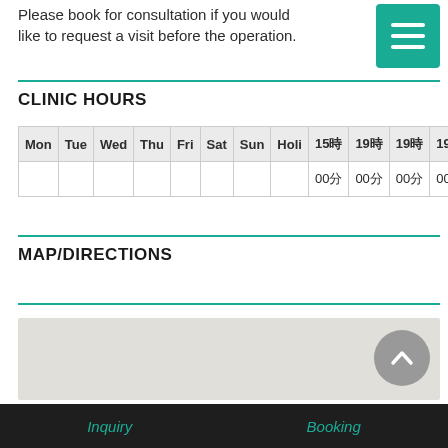Please book for consultation if you would like to request a visit before the operation.
[Figure (screenshot): Teal hamburger menu button with three white horizontal lines]
CLINIC HOURS
| Mon | Tue | Wed | Thu | Fri | Sat | Sun | Holi | 15時 | 19時 | 19時 | 19時 | 15時 | 10時 | 10時 |
| --- | --- | --- | --- | --- | --- | --- | --- | --- | --- | --- | --- | --- | --- | --- |
|  |  |  |  |  |  |  |  | 00分 | 00分 | 00分 | 00分 | 00分 | 00分 | 00分 |
MAP/DIRECTIONS
[Figure (map): Light grey map area showing clinic location directions]
Inquiry    Booking